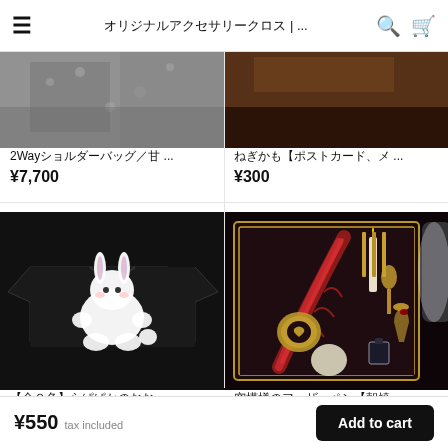オリジナルアクセサリークロス | ...
[Figure (photo): Partial view of a 2Way shoulder bag product image (grey/dark patterned fabric)]
2Wayショルダーバッグ／甘...
¥7,700
[Figure (photo): Partial view of a postcard/memo product image (dark brownish tone)]
ねぎかも【ポストカード、メ...
¥300
[Figure (photo): Black t-shirt with white cartoon rabbit (rapapaka) design on dark background]
【全２色】らぱぱかのおお...
¥4,950
[Figure (photo): Feather pen wax seal set in dark box with gold accents, crystal glass, candle, stamps]
空模様のフェザーペン【朝焼...
¥6,600
¥550 tax included
Add to cart